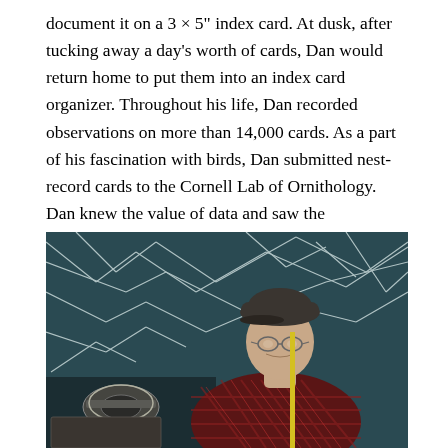document it on a 3 × 5" index card. At dusk, after tucking away a day's worth of cards, Dan would return home to put them into an index card organizer. Throughout his life, Dan recorded observations on more than 14,000 cards. As a part of his fascination with birds, Dan submitted nest-record cards to the Cornell Lab of Ornithology. Dan knew the value of data and saw the importance of sharing his findings. All of his personal index cards are currently being transcribed on Zooniverse, while the nest records are hosted by the Nest Quest Go! project.
[Figure (photo): Black and white photograph of an elderly man wearing a flat cap, glasses, and a plaid flannel shirt. He is standing outdoors among bare white branches. In front of him is some equipment including what appears to be a reel or spool device.]